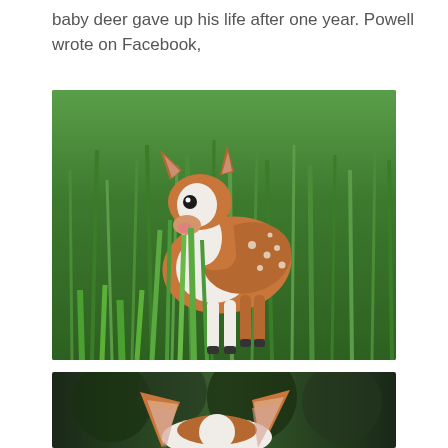baby deer gave up his life after one year. Powell wrote on Facebook,
[Figure (photo): A baby deer (fawn) with brown and white coloring standing in tall green grass, facing left. The fawn has white spots on its brown coat and a pink nose.]
[Figure (photo): Close-up view from behind of what appears to be a white and brown deer, showing the tops of its ears against a blurred background.]